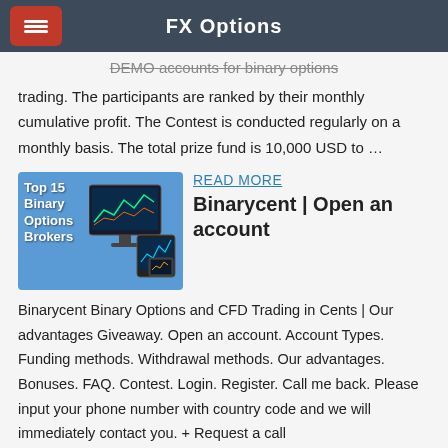FX Options
DEMO accounts for binary options trading. The participants are ranked by their monthly cumulative profit. The Contest is conducted regularly on a monthly basis. The total prize fund is 10,000 USD to …
[Figure (illustration): Top 15 Binary Options Brokers - image showing trading charts on monitor and tablet devices]
READ MORE
Binarycent | Open an account
Binarycent Binary Options and CFD Trading in Cents | Our advantages Giveaway. Open an account. Account Types. Funding methods. Withdrawal methods. Our advantages. Bonuses. FAQ. Contest. Login. Register. Call me back. Please input your phone number with country code and we will immediately contact you. + Request a call
[Figure (screenshot): Partial image at bottom of page - dark background]
READ MORE